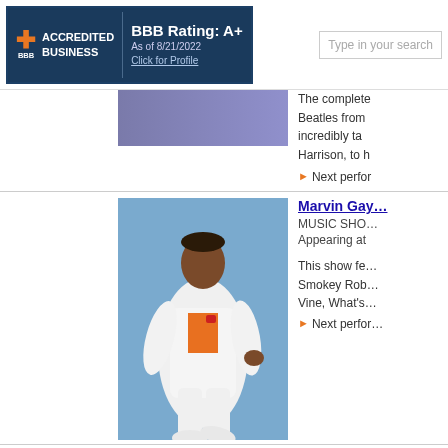BBB Rating: A+ | ACCREDITED BUSINESS | As of 8/21/2022 | Click for Profile | Type in your search
The complete... Beatles from... incredibly ta... Harrison, to h...
▶ Next perfo...
[Figure (photo): Marvin Gaye tribute performer in white suit on blue background]
Marvin Gay...
MUSIC SHO...
Appearing at
This show fe... Smokey Rob... Vine, What's...
▶ Next perfo...
[Figure (photo): Motown Down performers on purple-lit stage]
Motown Dow...